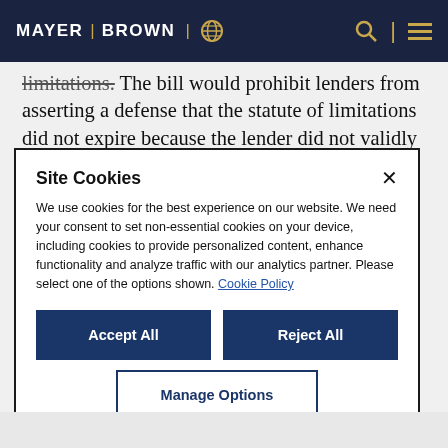MAYER | BROWN
limitations. The bill would prohibit lenders from asserting a defense that the statute of limitations did not expire because the lender did not validly accelerate the loan in an action to quiet title in
Site Cookies

We use cookies for the best experience on our website. We need your consent to set non-essential cookies on your device, including cookies to provide personalized content, enhance functionality and analyze traffic with our analytics partner. Please select one of the options shown. Cookie Policy

[Accept All] [Reject All]
[Manage Options]
(partial article text continues below)